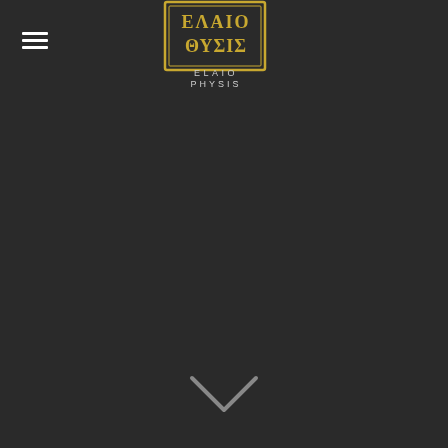[Figure (logo): Hamburger menu icon (three horizontal white lines) in top left corner]
[Figure (logo): Elaio Physis brand logo centered at top: Greek-style square emblem with Greek letters ΕΛΑΙΟ and ΘΥΣΙΣ in yellow/gold, with text ELAIO PHYSIS in white/silver below]
[Figure (other): Downward-pointing chevron/arrow icon in light grey at the bottom center of the page]